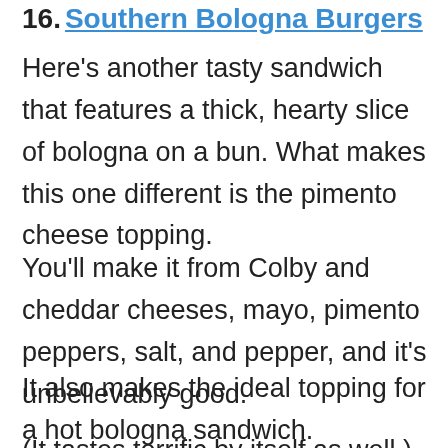16. Southern Bologna Burgers
Here's another tasty sandwich that features a thick, hearty slice of bologna on a bun. What makes this one different is the pimento cheese topping.
You'll make it from Colby and cheddar cheeses, mayo, pimento peppers, salt, and pepper, and it's unbelievably good.
It also makes the ideal topping for a hot bologna sandwich.
(It tastes terrific by itself as well.)